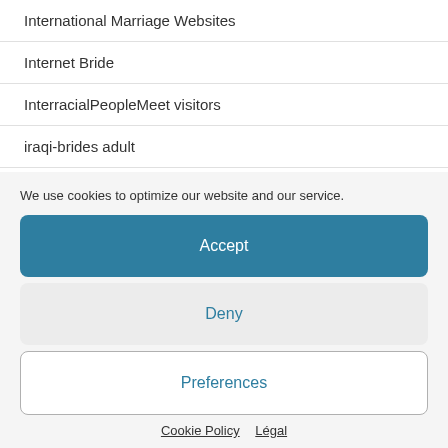International Marriage Websites
Internet Bride
InterracialPeopleMeet visitors
iraqi-brides adult
Is It OK To Date A Foreigner
We use cookies to optimize our website and our service.
Accept
Deny
Preferences
Cookie Policy  Légal